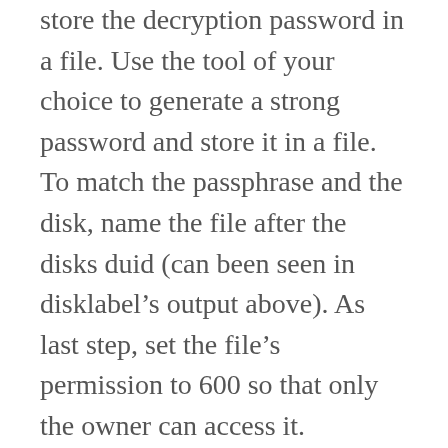store the decryption password in a file. Use the tool of your choice to generate a strong password and store it in a file. To match the passphrase and the disk, name the file after the disks duid (can been seen in disklabel’s output above). As last step, set the file’s permission to 600 so that only the owner can access it. Otherwise, bioctl complains about wrong permissions.
Make sure that you save the file in a secure location on your